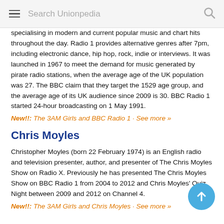Search Unionpedia
specialising in modern and current popular music and chart hits throughout the day. Radio 1 provides alternative genres after 7pm, including electronic dance, hip hop, rock, indie or interviews. It was launched in 1967 to meet the demand for music generated by pirate radio stations, when the average age of the UK population was 27. The BBC claim that they target the 1529 age group, and the average age of its UK audience since 2009 is 30. BBC Radio 1 started 24-hour broadcasting on 1 May 1991.
New!!: The 3AM Girls and BBC Radio 1 · See more »
Chris Moyles
Christopher Moyles (born 22 February 1974) is an English radio and television presenter, author, and presenter of The Chris Moyles Show on Radio X. Previously he has presented The Chris Moyles Show on BBC Radio 1 from 2004 to 2012 and Chris Moyles' Quiz Night between 2009 and 2012 on Channel 4.
New!!: The 3AM Girls and Chris Moyles · See more »